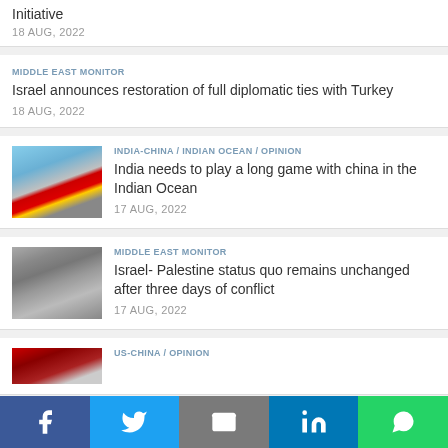Initiative
18 AUG, 2022
MIDDLE EAST MONITOR
Israel announces restoration of full diplomatic ties with Turkey
18 AUG, 2022
INDIA-CHINA / INDIAN OCEAN / OPINION
India needs to play a long game with china in the Indian Ocean
17 AUG, 2022
MIDDLE EAST MONITOR
Israel- Palestine status quo remains unchanged after three days of conflict
17 AUG, 2022
US-CHINA / OPINION
[Figure (photo): Chinese flag with soldiers and naval vessel in background]
[Figure (photo): Israeli military vehicles and soldiers in conflict zone]
[Figure (photo): Partial image, red flag visible, partially cropped at bottom]